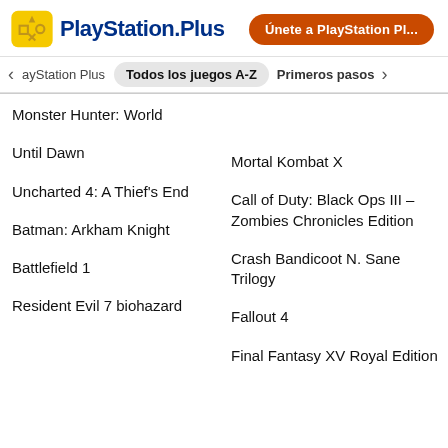PlayStation Plus — Únete a PlayStation Pl...
PlayStation Plus  |  Todos los juegos A-Z  |  Primeros pasos
Monster Hunter: World
Mortal Kombat X
Until Dawn
Call of Duty: Black Ops III – Zombies Chronicles Edition
Uncharted 4: A Thief's End
Crash Bandicoot N. Sane Trilogy
Batman: Arkham Knight
Fallout 4
Battlefield 1
Final Fantasy XV Royal Edition
Resident Evil 7 biohazard